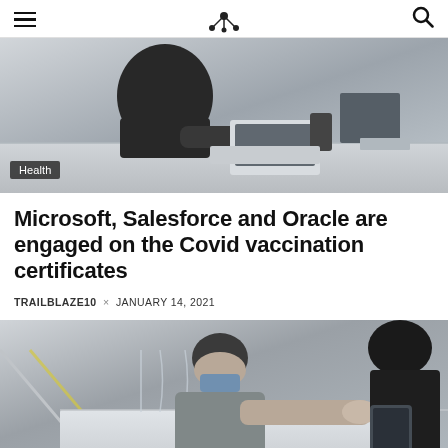TRAILBLAZE10 — The Tech Business Press (logo)
[Figure (photo): Person in dark hoodie working at a desk with laptop and monitors, viewed from behind, in an office/airport setting]
Health
Microsoft, Salesforce and Oracle are engaged on the Covid vaccination certificates
TRAILBLAZE10 × JANUARY 14, 2021
[Figure (photo): Person wearing mask and dark beanie leaning over a counter with a plexiglass barrier, with another person visible, in an airport or public health setting]